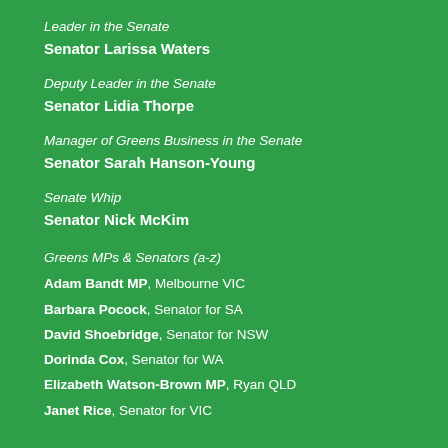Leader in the Senate
Senator Larissa Waters
Deputy Leader in the Senate
Senator Lidia Thorpe
Manager of Greens Business in the Senate
Senator Sarah Hanson-Young
Senate Whip
Senator Nick McKim
Greens MPs & Senators (a-z)
Adam Bandt MP, Melbourne VIC
Barbara Pocock, Senator for SA
David Shoebridge, Senator for NSW
Dorinda Cox, Senator for WA
Elizabeth Watson-Brown MP, Ryan QLD
Janet Rice, Senator for VIC